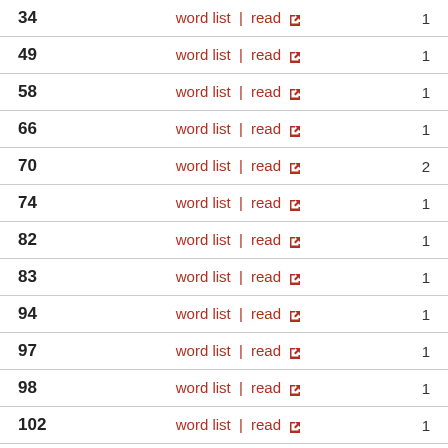| Number | Links | Count |
| --- | --- | --- |
| 34 | word list | read | 1 |
| 49 | word list | read | 1 |
| 58 | word list | read | 1 |
| 66 | word list | read | 1 |
| 70 | word list | read | 2 |
| 74 | word list | read | 1 |
| 82 | word list | read | 1 |
| 83 | word list | read | 1 |
| 94 | word list | read | 1 |
| 97 | word list | read | 1 |
| 98 | word list | read | 1 |
| 102 | word list | read | 1 |
| 103 | word list | read | 1 |